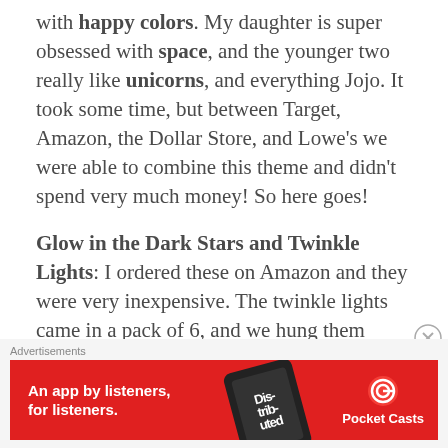with happy colors. My daughter is super obsessed with space, and the younger two really like unicorns, and everything Jojo. It took some time, but between Target, Amazon, the Dollar Store, and Lowe's we were able to combine this theme and didn't spend very much money! So here goes!
Glow in the Dark Stars and Twinkle Lights: I ordered these on Amazon and they were very inexpensive. The twinkle lights came in a pack of 6, and we hung them behind her pastel rainbow colored curtains that I'll get to later. I also picked up a few extra strands of twinkle lights at the
[Figure (other): Red advertisement banner for Pocket Casts app with text 'An app by listeners, for listeners.' and a phone graphic showing 'Distributed' on screen, with Pocket Casts logo and name on the right.]